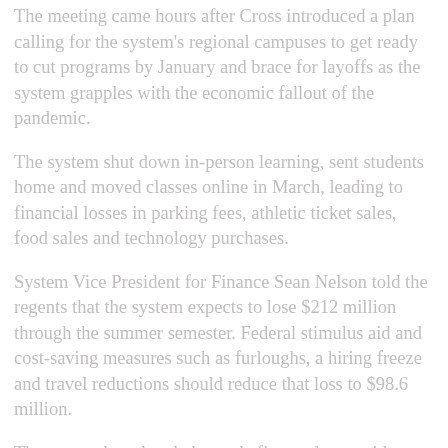The meeting came hours after Cross introduced a plan calling for the system's regional campuses to get ready to cut programs by January and brace for layoffs as the system grapples with the economic fallout of the pandemic.
The system shut down in-person learning, sent students home and moved classes online in March, leading to financial losses in parking fees, athletic ticket sales, food sales and technology purchases.
System Vice President for Finance Sean Nelson told the regents that the system expects to lose $212 million through the summer semester. Federal stimulus aid and cost-saving measures such as furloughs, a hiring freeze and travel reductions should reduce that loss to $98.6 million.
The system has already been chafing under a resident undergraduate tuition freeze Republican lawmakers imposed in the 2013-2015 state budget. State aid for the system has been trending down as well; Cross said in his